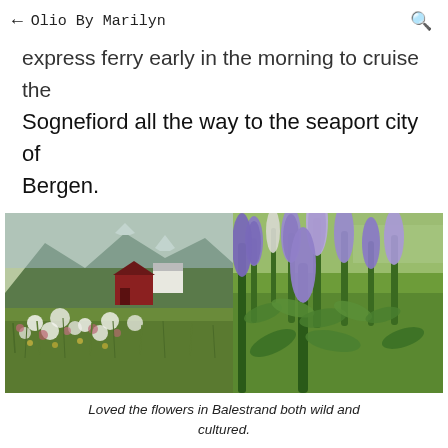← Olio By Marilyn 🔍
express ferry early in the morning to cruise the Sognefiord all the way to the seaport city of Bergen.
[Figure (photo): Two side-by-side photographs of flowers in Balestrand, Norway. Left photo shows a wild meadow with white and pink wildflowers, green grasses, and a red barn with mountains in the background. Right photo shows cultivated purple lupine flowers in a green garden setting with a white building visible in the background.]
Loved the flowers in Balestrand both wild and cultured.